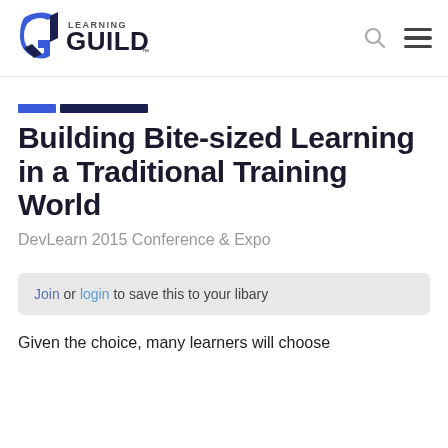[Figure (logo): Learning Guild logo with stylized G icon in blue and dark navy, with text LEARNING GUILD]
Building Bite-sized Learning in a Traditional Training World
DevLearn 2015 Conference & Expo
Join or login to save this to your libary
Given the choice, many learners will choose